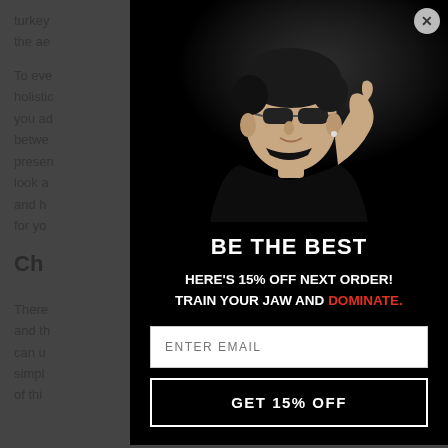turkey... vates the ae... jaw.
To eve... d holistic... o help you ad... ary betwe... presen... a look a... ent, and h... ect for yo...
Ch... ine
There... ced, and th... yone can un... o simple... ouple of thin...
[Figure (photo): Popup modal overlay on a website. Contains a photo of a young man wearing sunglasses and a black turtleneck, pointing to his jaw. Below the photo: 'BE THE BEST' heading, offer text 'HERE'S 15% OFF NEXT ORDER! TRAIN YOUR JAW AND DOMINATE.' with DOMINATE in red, an email input field, and a 'GET 15% OFF' button. A close (X) button is in the top right corner of the modal.]